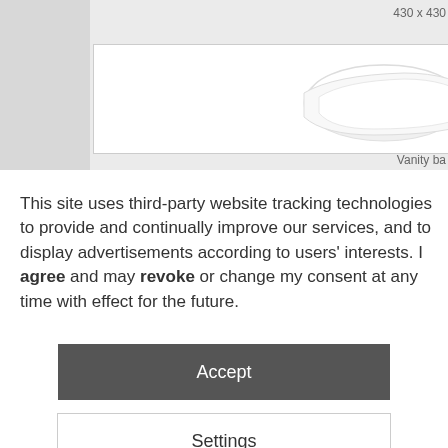[Figure (photo): Partial screenshot of a product page showing a white vanity basin on a light grey background. The dimension label '430 x 430' is shown in the top right. Below the product image frame is the partial label text 'Vanity ba'.]
This site uses third-party website tracking technologies to provide and continually improve our services, and to display advertisements according to users' interests. I agree and may revoke or change my consent at any time with effect for the future.
Accept
Settings
Imprint | Privacy Policy